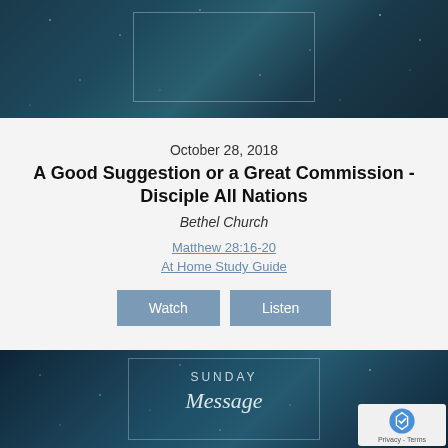[Figure (illustration): Dark blue starry night sky with a semi-transparent rectangle border in the center, top portion visible]
October 28, 2018
A Good Suggestion or a Great Commission - Disciple All Nations
Bethel Church
Matthew 28:16-20
At Home Study Guide
Watch
Listen
[Figure (illustration): Dark blue starry night sky background with a rectangle border containing the text SUNDAY Message in white/light colored font]